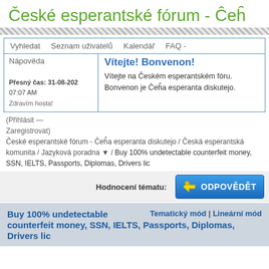České esperantské fórum - Čeĥa
Vyhledat  Seznam uživatelů  Kalendář  FAQ -  Nápověda
Vítejte! Bonvenon!
Vítejte na Českém esperantském fóru. Bonvenon je Čeĥa esperanta diskutejo.
Přesný čas: 31-08-202... 07:07 AM
Zdravím hosta!
(Přihlásit — Zaregistrovat)
České esperantské fórum - Čeĥa esperanta diskutejo / Česká esperantská komunita / Jazyková poradna ▼ / Buy 100% undetectable counterfeit money, SSN, IELTS, Passports, Diplomas, Drivers lic
Hodnocení tématu:
Buy 100% undetectable counterfeit money, SSN, IELTS, Passports, Diplomas, Drivers lic
Tematický mód | Lineární mód